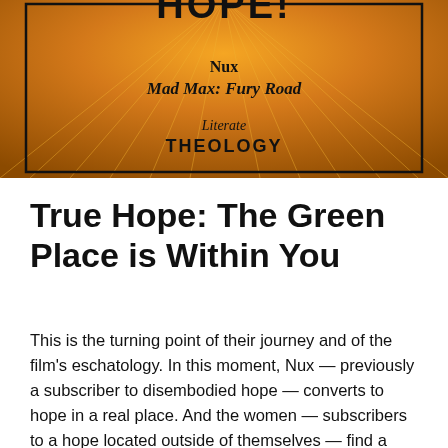[Figure (illustration): Book cover with orange radial burst background. Contains text: 'HOPE!' at top, 'Nux', 'Mad Max: Fury Road' in bold italic, 'Literate THEOLOGY' at bottom, all inside a black border rectangle.]
True Hope: The Green Place is Within You
This is the turning point of their journey and of the film's eschatology. In this moment, Nux — previously a subscriber to disembodied hope — converts to hope in a real place. And the women — subscribers to a hope located outside of themselves — find a resilient hope that exists in and among their own selves